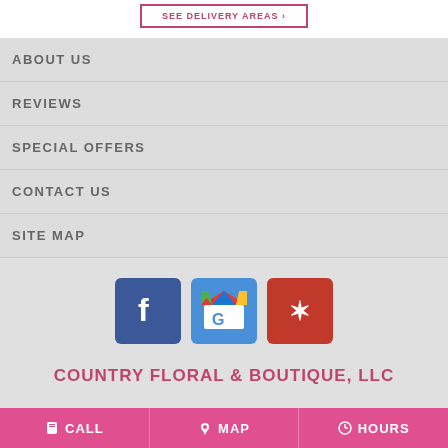SEE DELIVERY AREAS
ABOUT US
REVIEWS
SPECIAL OFFERS
CONTACT US
SITE MAP
[Figure (logo): Facebook, Google My Business, and Yelp social media icons]
COUNTRY FLORAL & BOUTIQUE, LLC
CALL   MAP   HOURS